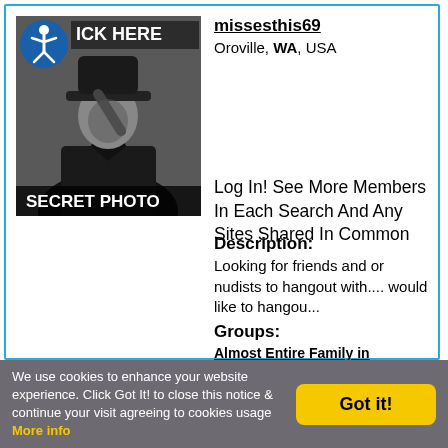[Figure (photo): Secret photo placeholder: a black and white image of a person wearing a hat and coat, tipping their hat. Blue accessibility icon in top-left corner. Text 'ICK HERE' at top and 'SECRET PHOTO' at bottom.]
missesthis69
Oroville, WA, USA
Log In! See More Members In Each Search And Any Sites Shared In Common
Description:
Looking for friends and or nudists to hangout with.... would like to hangou...
Groups:
Almost Entire Family in Washington
We use cookies to enhance your website experience. Click Got It! to close this notice & continue your visit agreeing to cookies usage More info
Got it!